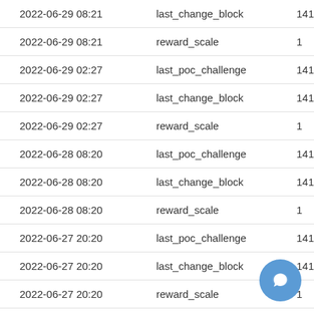| Date/Time | Field | Value |
| --- | --- | --- |
| 2022-06-29 08:21 | last_change_block | 1418540 |
| 2022-06-29 08:21 | reward_scale | 1 |
| 2022-06-29 02:27 | last_poc_challenge | 1417069 |
| 2022-06-29 02:27 | last_change_block | 1417404 |
| 2022-06-29 02:27 | reward_scale | 1 |
| 2022-06-28 08:20 | last_poc_challenge | 1416429 |
| 2022-06-28 08:20 | last_change_block | 1416724 |
| 2022-06-28 08:20 | reward_scale | 1 |
| 2022-06-27 20:20 | last_poc_challenge | 1416013 |
| 2022-06-27 20:20 | last_change_block | 1416406 |
| 2022-06-27 20:20 | reward_scale | 1 |
| 2022-06-27 14:21 | last_change_block | 1416013 |